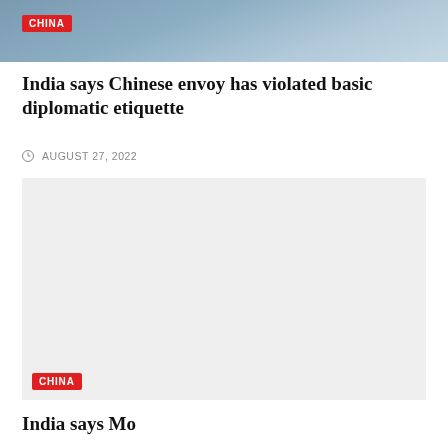[Figure (photo): Top banner image with blue-grey tones, likely sky or abstract background]
CHINA
India says Chinese envoy has violated basic diplomatic etiquette
AUGUST 27, 2022
[Figure (photo): Large light grey placeholder image area]
CHINA
India says Moscow...